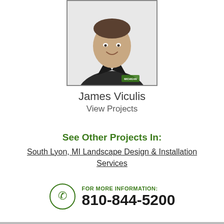[Figure (photo): Headshot of James Viculis, a man wearing a black polo shirt with a Michigan logo/patch, smiling, photographed against a white background, displayed in a bordered box.]
James Viculis
View Projects
See Other Projects In:
South Lyon, MI Landscape Design & Installation Services
FOR MORE INFORMATION:
810-844-5200